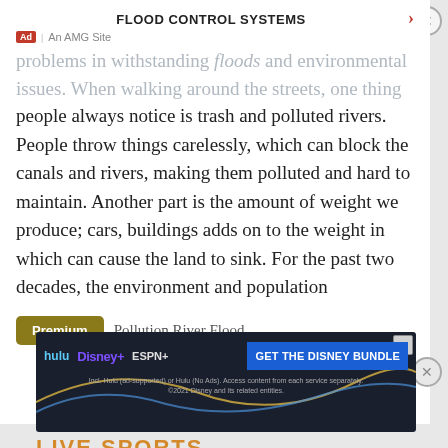FLOOD CONTROL SYSTEMS
problems in withstanding floods and environmental issues. When walking around the streets, one thing people always notice is trash and polluted rivers. People throw things carelessly, which can block the canals and rivers, making them polluted and hard to maintain. Another part is the amount of weight we produce; cars, buildings adds on to the weight in which can cause the land to sink. For the past two decades, the environment and population
Premium  Pollution River Flood
Read More
[Figure (screenshot): Disney Bundle advertisement banner showing Hulu, Disney+, ESPN+ logos with 'GET THE DISNEY BUNDLE' call to action button and fine print text.]